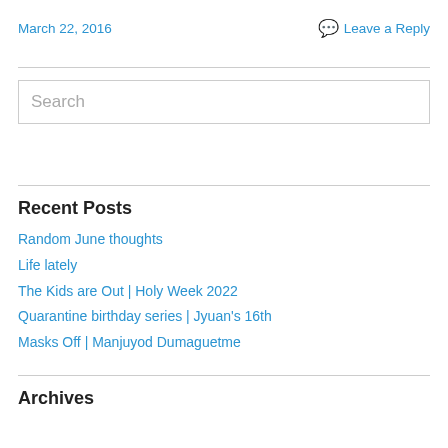March 22, 2016
Leave a Reply
Search
Recent Posts
Random June thoughts
Life lately
The Kids are Out | Holy Week 2022
Quarantine birthday series | Jyuan's 16th
Masks Off | Manjuyod Dumaguetme
Archives